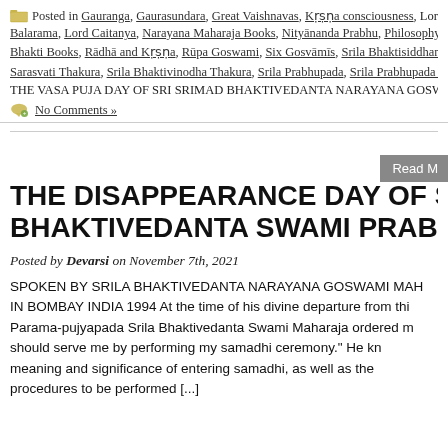Posted in Gauranga, Gaurasundara, Great Vaishnavas, Kṛṣṇa consciousness, Lord Balarama, Lord Caitanya, Narayana Maharaja Books, Nityānanda Prabhu, Philosophy, Bhakti Books, Rādhā and Kṛṣṇa, Rūpa Goswami, Six Gosvāmīs, Srila Bhaktisiddhanta Sarasvati Thakura, Srila Bhaktivinodha Thakura, Srila Prabhupada, Srila Prabhupada Lectures, THE VASA PUJA DAY OF SRI SRIMAD BHAKTIVEDANTA NARAYANA GOSWAMI MAHARAJA
No Comments »
THE DISAPPEARANCE DAY OF SRILA BHAKTIVEDANTA SWAMI PRABHUPADA
Posted by Devarsi on November 7th, 2021
SPOKEN BY SRILA BHAKTIVEDANTA NARAYANA GOSWAMI MAHARAJA IN BOMBAY INDIA 1994 At the time of his divine departure from this world, Parama-pujyapada Srila Bhaktivedanta Swami Maharaja ordered me, "You should serve me by performing my samadhi ceremony." He knows the meaning and significance of entering samadhi, as well as the procedures to be performed [...]